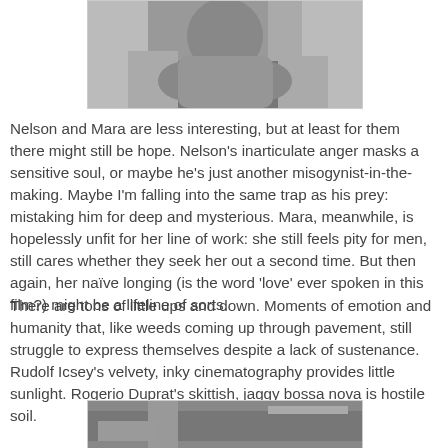[Figure (photo): Black and white photo of two people embracing, partially visible at top of page]
Nelson and Mara are less interesting, but at least for them there might still be hope. Nelson's inarticulate anger masks a sensitive soul, or maybe he's just another misogynist-in-the-making. Maybe I'm falling into the same trap as his prey: mistaking him for deep and mysterious. Mara, meanwhile, is hopelessly unfit for her line of work: she still feels pity for men, still cares whether they seek her out a second time. But then again, her naïve longing (is the word 'love' ever spoken in this film?) might be a lifeline of sorts.
There are tons of little ups and down. Moments of emotion and humanity that, like weeds coming up through pavement, still struggle to express themselves despite a lack of sustenance. Rudolf Icsey's velvety, inky cinematography provides little sunlight. Rogerio Duprat's skittish, jaggy bossa nova is hostile soil.
[Figure (photo): Black and white photo partially visible at bottom of page]